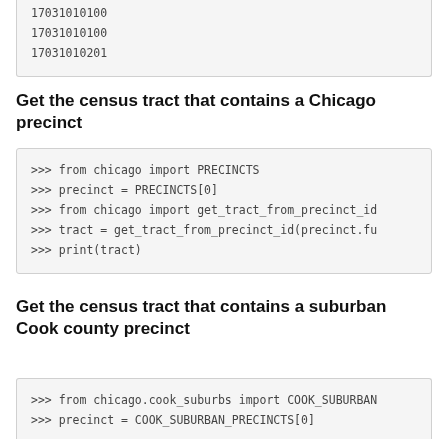[Figure (screenshot): Code block showing: 17031010100 / 17031010100 / 17031010201]
Get the census tract that contains a Chicago precinct
[Figure (screenshot): Code block: >>> from chicago import PRECINCTS
>>> precinct = PRECINCTS[0]
>>> from chicago import get_tract_from_precinct_id
>>> tract = get_tract_from_precinct_id(precinct.fu
>>> print(tract)]
Get the census tract that contains a suburban Cook county precinct
[Figure (screenshot): Code block: >>> from chicago.cook_suburbs import COOK_SUBURBAN
>>> precinct = COOK_SUBURBAN_PRECINCTS[0]]